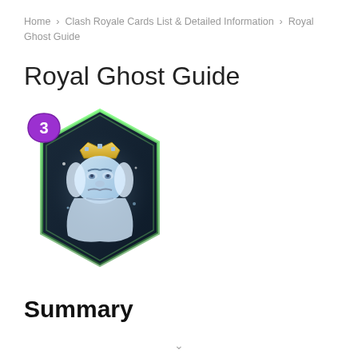Home › Clash Royale Cards List & Detailed Information › Royal Ghost Guide
Royal Ghost Guide
[Figure (illustration): Clash Royale Royal Ghost card image: a hexagonal dark card with green glow border, showing a ghostly blue-white king figure with a gold crown, wearing regal robes, with a purple elixir cost badge showing '3' in the top-left corner.]
Summary